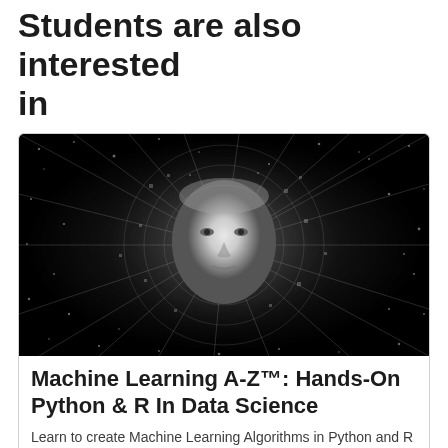Students are also interested in
[Figure (photo): Black and white artistic photo of a robotic/AI female face emerging from a burst of particles, circuits, and light rays on a dark background]
Machine Learning A-Z™: Hands-On Python & R In Data Science
Learn to create Machine Learning Algorithms in Python and R from two Data Science experts. Code templates included.